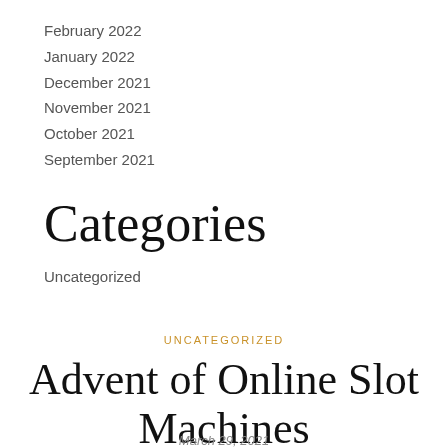February 2022
January 2022
December 2021
November 2021
October 2021
September 2021
Categories
Uncategorized
UNCATEGORIZED
Advent of Online Slot Machines
March 29, 2021